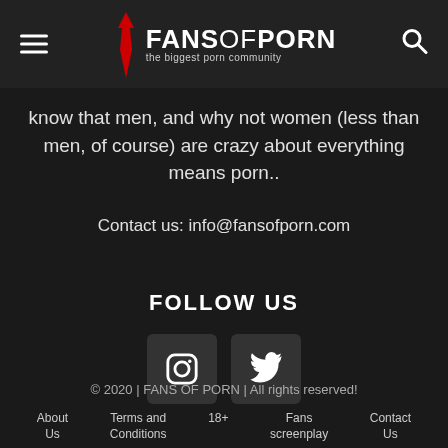FANS OF PORN — the biggest porn community
know that men, and why not women (less than men, of course) are crazy about everything means porn..
Contact us: info@fansofporn.com
FOLLOW US
[Figure (other): Instagram and Twitter social media icon buttons]
© 2020 | FANS OF PORN | All rights reserved!
About Us
Terms and Conditions
18+
Fans screenplay
Contact Us